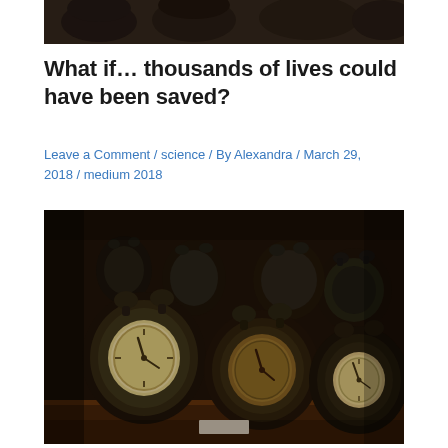[Figure (photo): Partial top crop of a collection of old alarm clocks on a shelf, dark moody tones]
What if… thousands of lives could have been saved?
Leave a Comment / science / By Alexandra / March 29, 2018 / medium 2018
[Figure (photo): A large collection of vintage black alarm clocks arranged on a wooden shelf, photographed in dim, warm-toned light with a dark moody atmosphere]